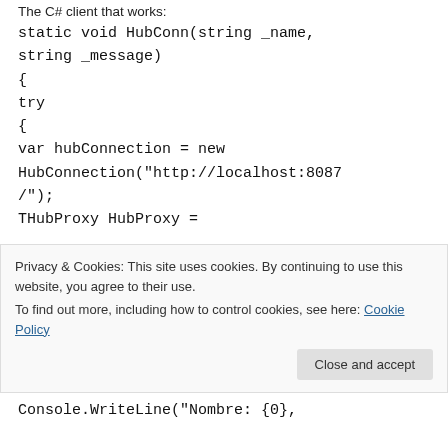The C# client that works:
static void HubConn(string _name,
string _message)
{
try
{
var hubConnection = new
HubConnection("http://localhost:8087
/");
THubProxy HubProxy =
Privacy & Cookies: This site uses cookies. By continuing to use this website, you agree to their use.
To find out more, including how to control cookies, see here: Cookie Policy
Console.WriteLine("Nombre: {0},